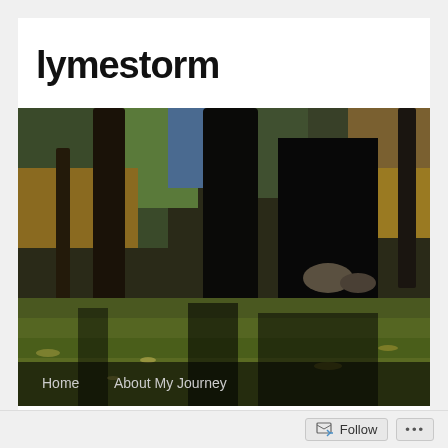lymestorm
[Figure (photo): Forest scene with tall dark tree trunks, green and golden mossy ground with dappled light and shadows, pine/conifer trees in background]
Home   About My Journey
Category Archives: Death